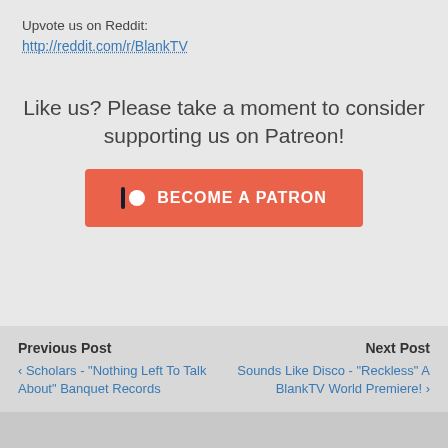Upvote us on Reddit:
http://reddit.com/r/BlankTV
Like us? Please take a moment to consider supporting us on Patreon!
[Figure (other): Patreon 'Become a Patron' button in coral/orange-red color with Patreon logo icon]
Previous Post
Next Post
‹ Scholars - "Nothing Left To Talk About" Banquet Records
Sounds Like Disco - "Reckless" A BlankTV World Premiere! ›